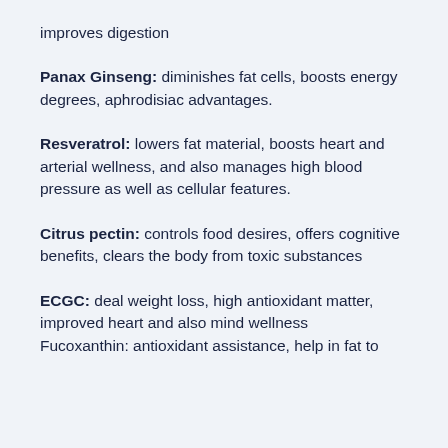improves digestion
Panax Ginseng: diminishes fat cells, boosts energy degrees, aphrodisiac advantages.
Resveratrol: lowers fat material, boosts heart and arterial wellness, and also manages high blood pressure as well as cellular features.
Citrus pectin: controls food desires, offers cognitive benefits, clears the body from toxic substances
ECGC: deal weight loss, high antioxidant matter, improved heart and also mind wellness
Fucoxanthin: antioxidant assistance, help in fat to